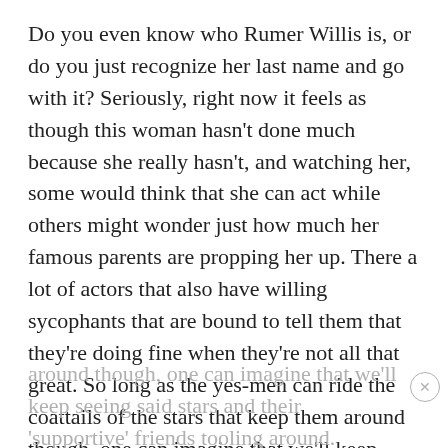Do you even know who Rumer Willis is, or do you just recognize her last name and go with it? Seriously, right now it feels as though this woman hasn't done much because she really hasn't, and watching her, some would think that she can act while others might wonder just how much her famous parents are propping her up. There a lot of actors that also have willing sycophants that are bound to tell them that they're doing fine when they're not all that great. So long as the yes-men can ride the coattails of the stars that keep them around though, one can imagine that we'll keep seeing said stars and their 'supportive' friends tooling around.